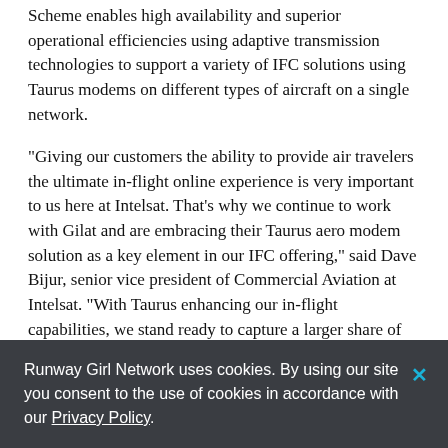Scheme enables high availability and superior operational efficiencies using adaptive transmission technologies to support a variety of IFC solutions using Taurus modems on different types of aircraft on a single network.
“Giving our customers the ability to provide air travelers the ultimate in-flight online experience is very important to us here at Intelsat. That’s why we continue to work with Gilat and are embracing their Taurus aero modem solution as a key element in our IFC offering,” said Dave Bijur, senior vice president of Commercial Aviation at Intelsat. “With Taurus enhancing our in-flight capabilities, we stand ready to capture a larger share of the resurgent IFC market.”
“It is precisely these passenger needs that are supported by
Runway Girl Network uses cookies. By using our site you consent to the use of cookies in accordance with our Privacy Policy.